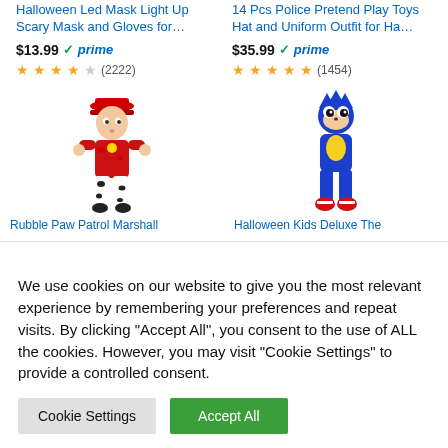Halloween Led Mask Light Up Scary Mask and Gloves for...
14 Pcs Police Pretend Play Toys Hat and Uniform Outfit for Ha...
$13.99 prime (2222)
$35.99 prime (1454)
[Figure (illustration): Child wearing PAW Patrol Marshall costume - red shirt with dalmatian pattern pants and hat]
[Figure (illustration): Child wearing Sonic the Hedgehog costume - blue suit with yellow highlights and red shoes]
Rubble Paw Patrol Marshall...
Halloween Kids Deluxe The...
We use cookies on our website to give you the most relevant experience by remembering your preferences and repeat visits. By clicking "Accept All", you consent to the use of ALL the cookies. However, you may visit "Cookie Settings" to provide a controlled consent.
Cookie Settings
Accept All